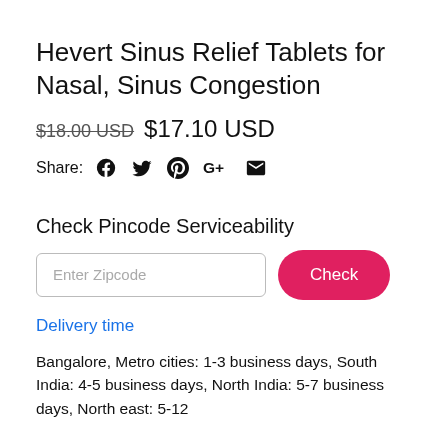Hevert Sinus Relief Tablets for Nasal, Sinus Congestion
$18.00 USD $17.10 USD
Share: [Facebook] [Twitter] [Pinterest] [G+] [Mail]
Check Pincode Serviceability
Enter Zipcode | Check
Delivery time
Bangalore, Metro cities: 1-3 business days, South India: 4-5 business days, North India: 5-7 business days, North east: 5-12